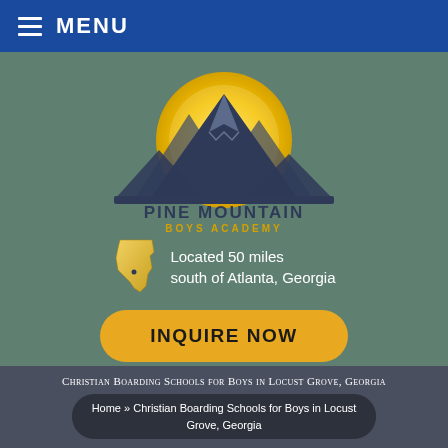MENU
[Figure (logo): Pine Mountain Boys Academy logo: mountain silhouette against a golden sun, with text 'PINE MOUNTAIN BOYS ACADEMY']
Located 50 miles south of Atlanta, Georgia
INQUIRE NOW
Christian Boarding Schools for Boys in Locust Grove, Georgia
Home » Christian Boarding Schools for Boys in Locust Grove, Georgia